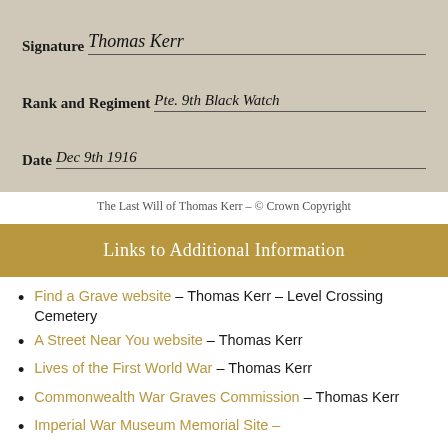[Figure (photo): Handwritten document showing fields: Signature (Thomas Kerr), Rank and Regiment (Pte. 9th Black Watch), Date (Dec 9th 1916)]
The Last Will of Thomas Kerr – © Crown Copyright
Links to Additional Information
Find a Grave website – Thomas Kerr – Level Crossing Cemetery
A Street Near You website – Thomas Kerr
Lives of the First World War – Thomas Kerr
Commonwealth War Graves Commission – Thomas Kerr
Imperial War Museum Memorial Site – ...